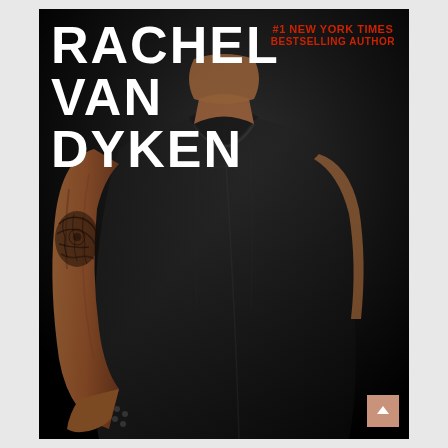[Figure (photo): Book cover showing a muscular man with tattoos on his left arm wearing a tight black v-neck t-shirt, photographed from the chest up against a dark/black background. The figure is cropped so the face is not visible.]
RACHEL VAN DYKEN
#1 NEW YORK TIMES BESTSELLING AUTHOR